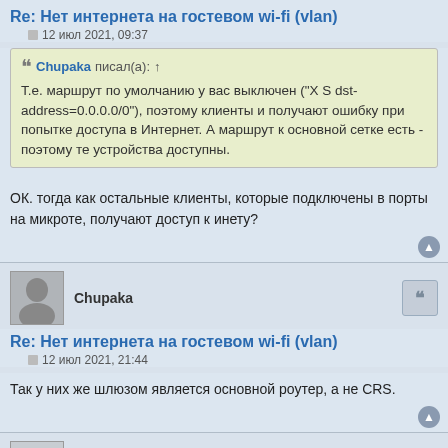Re: Нет интернета на гостевом wi-fi (vlan)
12 июл 2021, 09:37
Chupaka писал(а): ↑
Т.е. маршрут по умолчанию у вас выключен ("X S dst-address=0.0.0.0/0"), поэтому клиенты и получают ошибку при попытке доступа в Интернет. А маршрут к основной сетке есть - поэтому те устройства доступны.
ОК. тогда как остальные клиенты, которые подключены в порты на микроте, получают доступ к инету?
Chupaka
Re: Нет интернета на гостевом wi-fi (vlan)
12 июл 2021, 21:44
Так у них же шлюзом является основной роутер, а не CRS.
greendoom